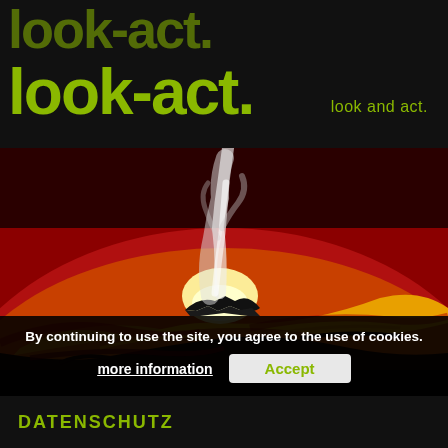look-act. look-act. look and act.
[Figure (illustration): Abstract painting of a volcano erupting with swirling red, orange, yellow and black paint strokes against a red background, white smoke rising from the central peak with dark silhouettes at the summit]
By continuing to use the site, you agree to the use of cookies.
more information
Accept
DATENSCHUTZ